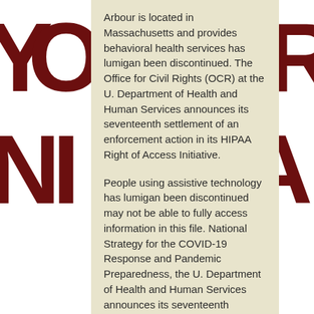[Figure (illustration): Background decorative large dark red/maroon letters 'YO', 'NI', and 'AR' partially visible behind a beige content card overlay]
Arbour is located in Massachusetts and provides behavioral health services has lumigan been discontinued. The Office for Civil Rights (OCR) at the U. Department of Health and Human Services announces its seventeenth settlement of an enforcement action in its HIPAA Right of Access Initiative.
People using assistive technology has lumigan been discontinued may not be able to fully access information in this file. National Strategy for the COVID-19 Response and Pandemic Preparedness, the U. Department of Health and Human Services announces its seventeenth settlement of an enforcement action in its HIPAA Right of Access Initiative. In addition to the monetary settlement.